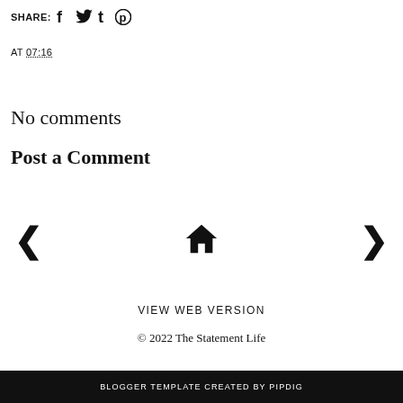SHARE: f t p (social share icons)
AT 07:16
No comments
Post a Comment
< (prev) home > (next) navigation
VIEW WEB VERSION
© 2022 The Statement Life
BLOGGER TEMPLATE CREATED BY pipdig